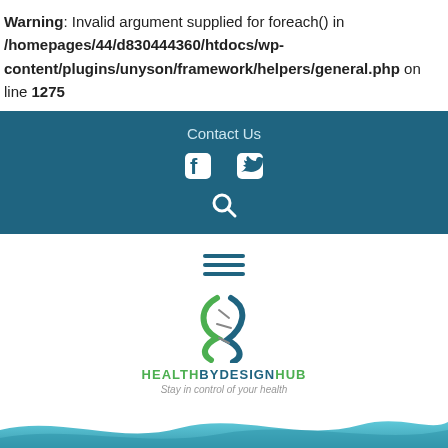Warning: Invalid argument supplied for foreach() in /homepages/44/d830444360/htdocs/wp-content/plugins/unyson/framework/helpers/general.php on line 1275
[Figure (screenshot): Dark teal navigation bar with 'Contact Us' text, Facebook icon, Twitter icon, and search icon]
[Figure (logo): HealthByDesignHub logo with DNA helix icon, hamburger menu lines, and tagline 'Stay in control of your health']
[Figure (illustration): Teal wave/footer banner at the bottom of the page]